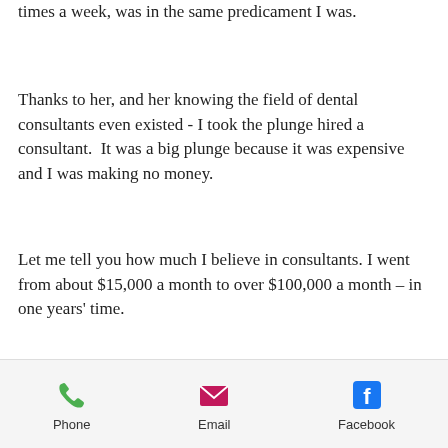times a week, was in the same predicament I was.
Thanks to her, and her knowing the field of dental consultants even existed - I took the plunge hired a consultant.  It was a big plunge because it was expensive and I was making no money.
Let me tell you how much I believe in consultants. I went from about $15,000 a month to over $100,000 a month – in one years' time.
So – YES – a resounding yes – I believe in consultants.
Phone | Email | Facebook